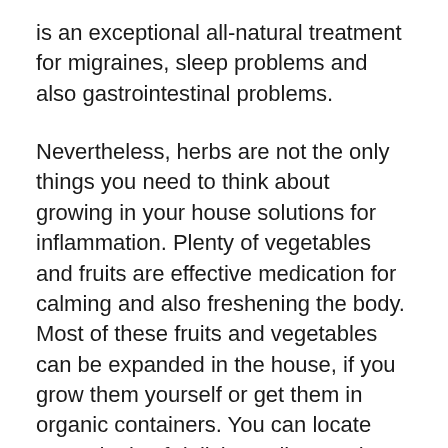is an exceptional all-natural treatment for migraines, sleep problems and also gastrointestinal problems.
Nevertheless, herbs are not the only things you need to think about growing in your house solutions for inflammation. Plenty of vegetables and fruits are effective medication for calming and also freshening the body. Most of these fruits and vegetables can be expanded in the house, if you grow them yourself or get them in organic containers. You can locate great deals of delicious all-natural remedies in the grocery store as well as there are also whole-wheat or organic pastas offered. Simply remember, however, that if you use herbs or various other plants for home remedies for swelling